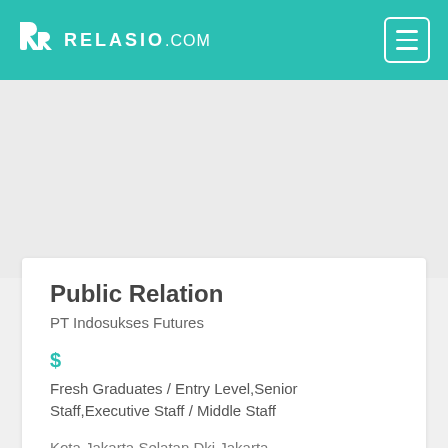RELASIO.com
Public Relation
PT Indosukses Futures
$
Fresh Graduates / Entry Level,Senior Staff,Executive Staff / Middle Staff
Kota Jakarta Selatan,Dki Jakarta